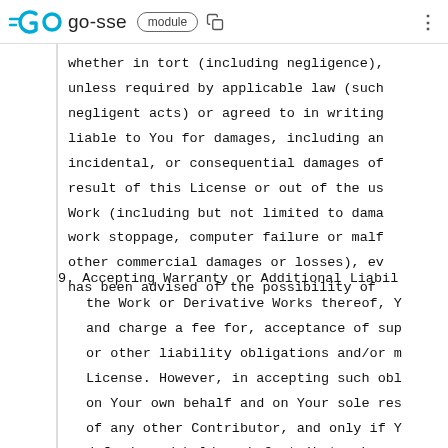go-sse module
whether in tort (including negligence), unless required by applicable law (such negligent acts) or agreed to in writing, liable to You for damages, including any incidental, or consequential damages of result of this License or out of the use Work (including but not limited to damages work stoppage, computer failure or malf other commercial damages or losses), even has been advised of the possibility of
9. Accepting Warranty or Additional Liabil the Work or Derivative Works thereof, Y and charge a fee for, acceptance of sup or other liability obligations and/or r License. However, in accepting such obl on Your own behalf and on Your sole res of any other Contributor, and only if Y defend, and hold each Contributor harm